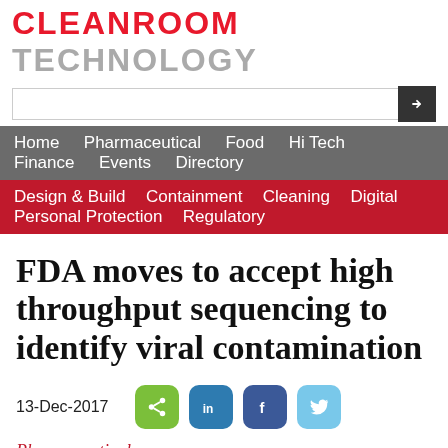CLEANROOM TECHNOLOGY
[Figure (screenshot): Search bar with arrow button]
Home  Pharmaceutical  Food  Hi Tech  Finance  Events  Directory
Design & Build  Containment  Cleaning  Digital  Personal Protection  Regulatory
FDA moves to accept high throughput sequencing to identify viral contamination
13-Dec-2017
[Figure (screenshot): Social share buttons: share, LinkedIn, Facebook, Twitter]
Pharmaceutical